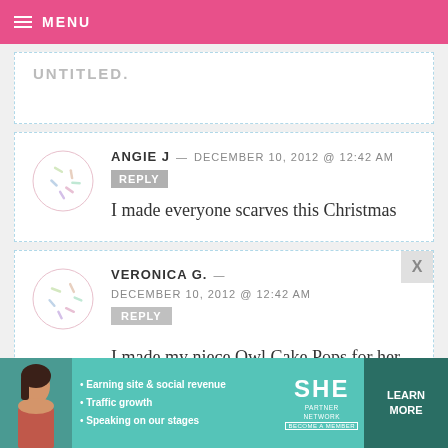MENU
ANGIE J — DECEMBER 10, 2012 @ 12:42 AM REPLY
I made everyone scarves this Christmas
VERONICA G. — DECEMBER 10, 2012 @ 12:42 AM
REPLY
I made my niece Owl Cake Pops for her 1st bday party :) Strawberry cake inside
[Figure (infographic): SHE Partner Network advertisement banner with woman photo, bullet points about Earning site & social revenue, Traffic growth, Speaking on our stages, SHE logo, LEARN MORE button]